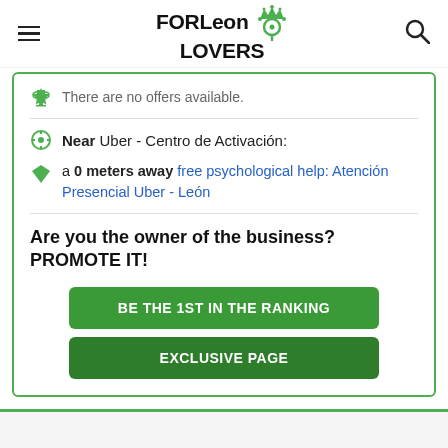FORLeon LOVERS
There are no offers available.
Near Uber - Centro de Activación:
a 0 meters away free psychological help: Atención Presencial Uber - León
Are you the owner of the business? PROMOTE IT!
BE THE 1ST IN THE RANKING
EXCLUSIVE PAGE